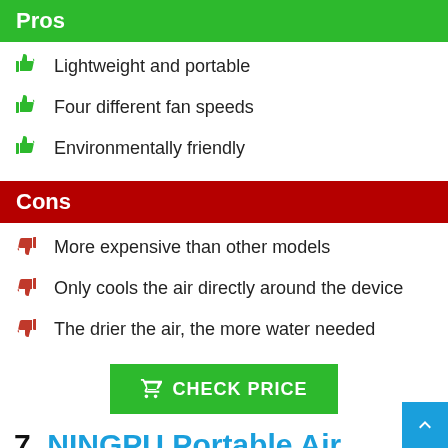Pros
Lightweight and portable
Four different fan speeds
Environmentally friendly
Cons
More expensive than other models
Only cools the air directly around the device
The drier the air, the more water needed
CHECK PRICE
7. NINGPU Portable Air Conditioner 1000 BTU